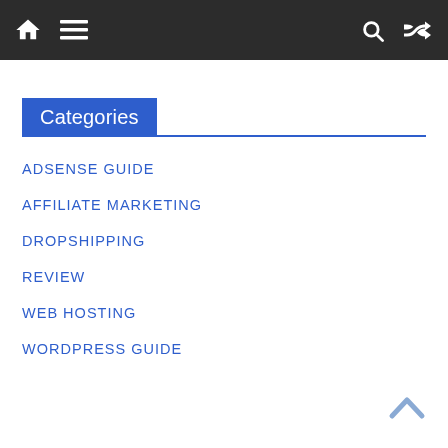Navigation bar with home icon, menu icon, search icon, and shuffle icon
Categories
ADSENSE GUIDE
AFFILIATE MARKETING
DROPSHIPPING
REVIEW
WEB HOSTING
WORDPRESS GUIDE